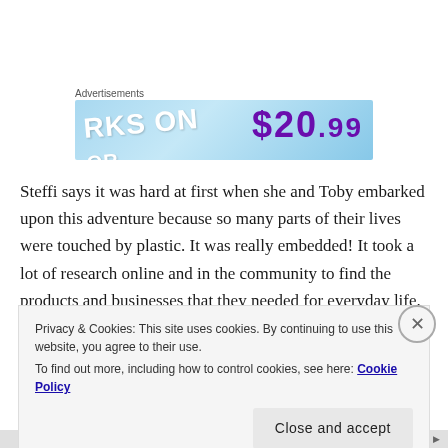Advertisements
[Figure (photo): Advertisement banner with light blue background showing text 'RKS ON' and '$20.99' in large purple bold letters]
Steffi says it was hard at first when she and Toby embarked upon this adventure because so many parts of their lives were touched by plastic. It was really embedded! It took a lot of research online and in the community to find the products and businesses that they needed for everyday life. For example, for a long time, Steffi could not find a place to buy cottage cheese that did not come in a plastic container. After years of no cottage cheese, she realized
Privacy & Cookies: This site uses cookies. By continuing to use this website, you agree to their use.
To find out more, including how to control cookies, see here: Cookie Policy
Close and accept